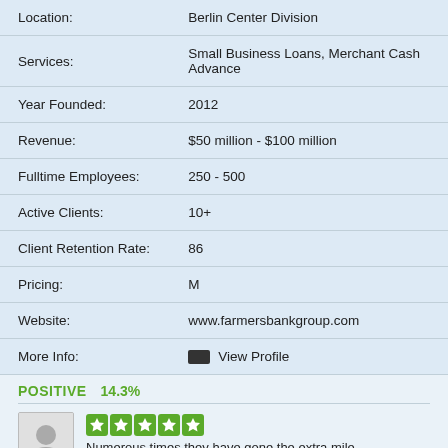| Field | Value |
| --- | --- |
| Location: | Berlin Center Division |
| Services: | Small Business Loans, Merchant Cash Advance |
| Year Founded: | 2012 |
| Revenue: | $50 million - $100 million |
| Fulltime Employees: | 250 - 500 |
| Active Clients: | 10+ |
| Client Retention Rate: | 86 |
| Pricing: | M |
| Website: | www.farmersbankgroup.com |
| More Info: | View Profile |
POSITIVE   14.3%
Numerous times they have gone the extra mile...